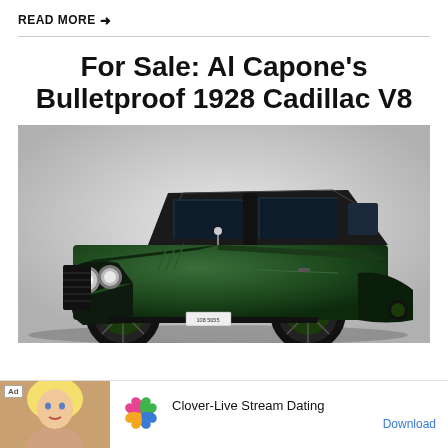READ MORE →
For Sale: Al Capone's Bulletproof 1928 Cadillac V8
[Figure (photo): A vintage dark green 1928 Cadillac V8 bulletproof car, photographed on a grey gradient background. The car has large round headlights, spoke wheels, black fenders, and a license plate reading 108 5655.]
[Figure (infographic): Advertisement bar showing 'Clover-Live Stream Dating' app with a photo of a blonde woman, a colorful clover heart icon, app name, and a Download link.]